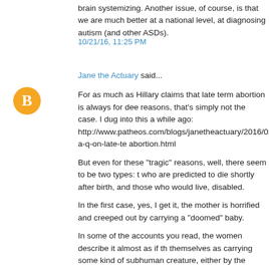brain systemizing. Another issue, of course, is that we are much better at a national level, at diagnosing autism (and other ASDs).
10/21/16, 11:25 PM
Jane the Actuary said...
[Figure (logo): Orange circular avatar icon with a white blogger 'B' logo]
For as much as Hillary claims that late term abortion is always for deep reasons, that's simply not the case. I dug into this a while ago: http://www.patheos.com/blogs/janetheactuary/2016/02/f-a-q-on-late-t abortion.html

But even for these "tragic" reasons, well, there seem to be two types: those who are predicted to die shortly after birth, and those who would live, disabled.

In the first case, yes, I get it, the mother is horrified and creeped out by carrying a "doomed" baby.

In some of the accounts you read, the women describe it almost as if they see themselves as carrying some kind of subhuman creature, either by the